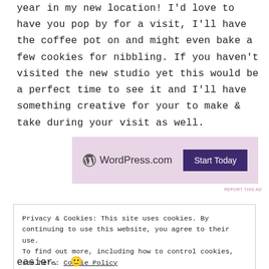year in my new location! I'd love to have you pop by for a visit, I'll have the coffee pot on and might even bake a few cookies for nibbling. If you haven't visited the new studio yet this would be a perfect time to see it and I'll have something creative for your to make & take during your visit as well.
[Figure (screenshot): WordPress.com advertisement banner with pink/lavender background, WordPress logo on left, 'Start Today' dark purple button on right]
REPORT THIS AD
Privacy & Cookies: This site uses cookies. By continuing to use this website, you agree to their use. To find out more, including how to control cookies, see here: Cookie Policy

Close and accept
easier.